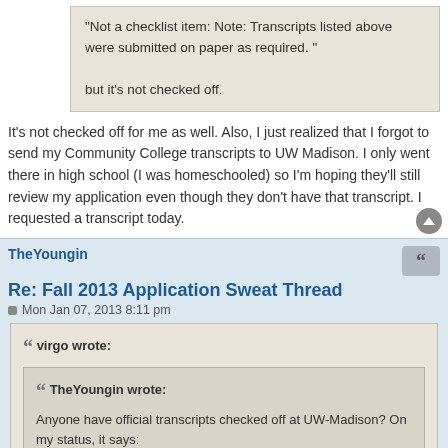"Not a checklist item: Note: Transcripts listed above were submitted on paper as required. "

but it's not checked off.
It's not checked off for me as well. Also, I just realized that I forgot to send my Community College transcripts to UW Madison. I only went there in high school (I was homeschooled) so I'm hoping they'll still review my application even though they don't have that transcript. I requested a transcript today.
TheYoungin
Re: Fall 2013 Application Sweat Thread
Mon Jan 07, 2013 8:11 pm
virgo wrote:
TheYoungin wrote:
Anyone have official transcripts checked off at UW-Madison? On my status, it says: